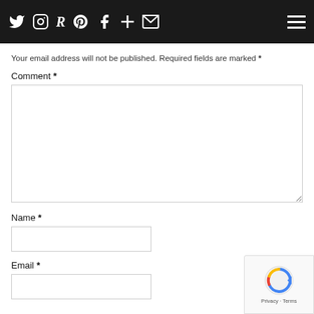[Social media icons: Twitter, Instagram, Pinterest, Facebook, Plus, Email] [Hamburger menu]
Your email address will not be published. Required fields are marked *
Comment *
Name *
Email *
[Figure (other): reCAPTCHA badge with spinning logo and Privacy - Terms text]